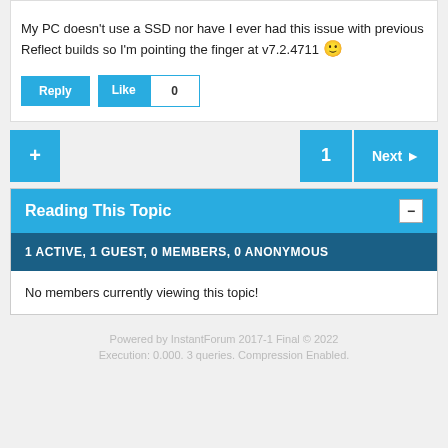My PC doesn't use a SSD nor have I ever had this issue with previous Reflect builds so I'm pointing the finger at v7.2.4711 🙂
Reply | Like 0
+ | 1 | Next ▶
Reading This Topic
1 ACTIVE, 1 GUEST, 0 MEMBERS, 0 ANONYMOUS
No members currently viewing this topic!
Powered by InstantForum 2017-1 Final © 2022
Execution: 0.000. 3 queries. Compression Enabled.